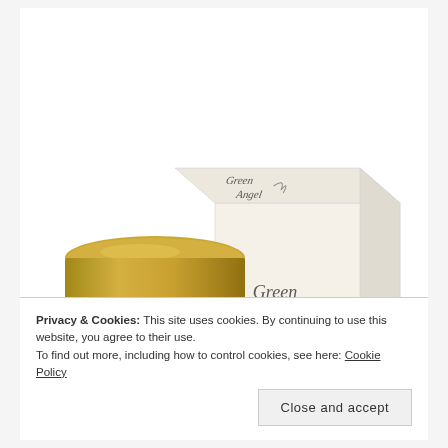[Figure (photo): Product photo showing a gold-lidded cosmetic jar beside a white box with 'Green Angel' branding visible on both the front and top of the box, photographed against a white background.]
Privacy & Cookies: This site uses cookies. By continuing to use this website, you agree to their use.
To find out more, including how to control cookies, see here: Cookie Policy
Close and accept